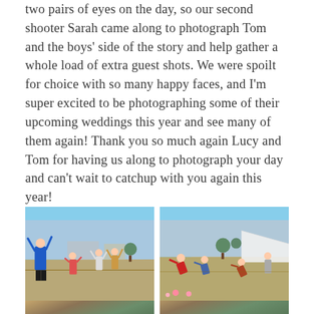two pairs of eyes on the day, so our second shooter Sarah came along to photograph Tom and the boys' side of the story and help gather a whole load of extra guest shots. We were spoilt for choice with so many happy faces, and I'm super excited to be photographing some of their upcoming weddings this year and see many of them again! Thank you so much again Lucy and Tom for having us along to photograph your day and can't wait to catchup with you again this year!
[Figure (photo): Two side-by-side outdoor photos showing groups of people (adults and children) playing games in a field/garden area. Left photo shows a person in blue jacket with arms raised and others celebrating. Right photo shows people bent over in a game, with a marquee tent visible in background. Both photos appear to be from a wedding or outdoor event.]